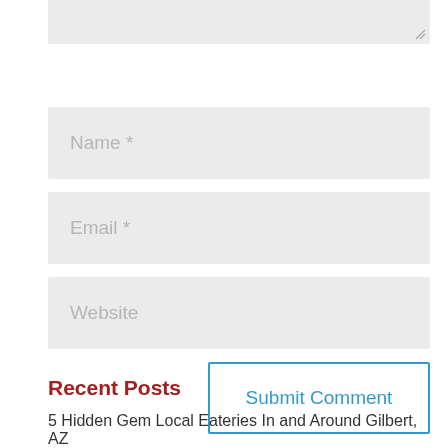[Figure (screenshot): Partial textarea input box at top of page with resize handle icon in bottom-right corner]
Name *
Email *
Website
Submit Comment
Recent Posts
5 Hidden Gem Local Eateries In and Around Gilbert, AZ